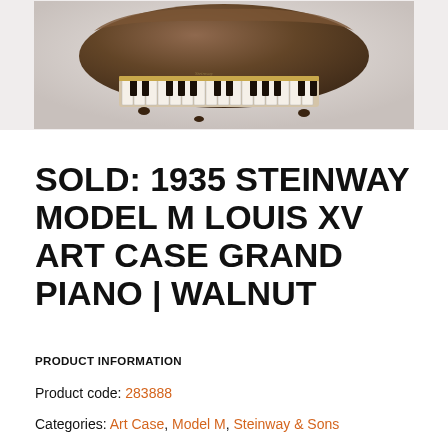[Figure (photo): A walnut Steinway grand piano photographed from above-front angle on a light background, showing the open lid and keyboard]
SOLD: 1935 STEINWAY MODEL M LOUIS XV ART CASE GRAND PIANO | WALNUT
PRODUCT INFORMATION
Product code: 283888
Categories: Art Case, Model M, Steinway & Sons